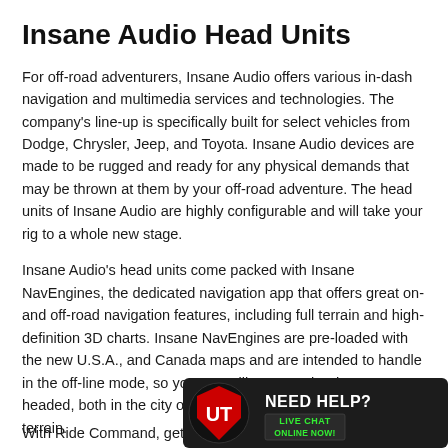Insane Audio Head Units
For off-road adventurers, Insane Audio offers various in-dash navigation and multimedia services and technologies. The company's line-up is specifically built for select vehicles from Dodge, Chrysler, Jeep, and Toyota. Insane Audio devices are made to be rugged and ready for any physical demands that may be thrown at them by your off-road adventure. The head units of Insane Audio are highly configurable and will take your rig to a whole new stage.
Insane Audio's head units come packed with Insane NavEngines, the dedicated navigation app that offers great on- and off-road navigation features, including full terrain and high-definition 3D charts. Insane NavEngines are pre-loaded with the new U.S.A., and Canada maps and are intended to handle in the off-line mode, so you can still get exactly where you are headed, both in the city on the trail when exploring off-road terrain.
Head Unit: Polaris Ride Command Display
With Ride Command, get t…
[Figure (logo): Need Help? Live Chat Online Now! advertisement banner with red logo]